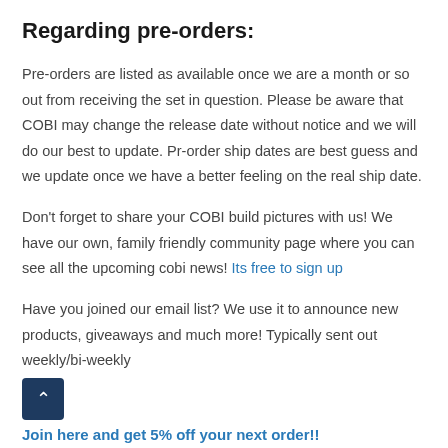Regarding pre-orders:
Pre-orders are listed as available once we are a month or so out from receiving the set in question. Please be aware that COBI may change the release date without notice and we will do our best to update.  Pr-order ship dates are best guess and we update once we have a better feeling on the real ship date.
Don't forget to share your COBI build pictures with us! We have our own, family friendly community page where you can see all the upcoming cobi news! Its free to sign up
Have you joined our email list? We use it to announce new products, giveaways and much more! Typically sent out weekly/bi-weekly
Join here and get 5% off your next order!!